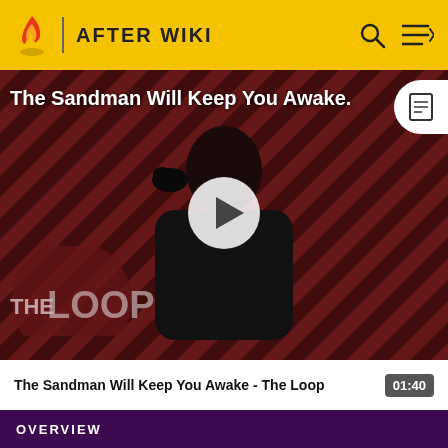AFTER WIKI
[Figure (screenshot): Video thumbnail for 'The Sandman Will Keep You Awake - The Loop' showing a dark-cloaked figure with a crow against a striped red/dark background with 'THE LOOP' logo overlay and a play button in the center]
The Sandman Will Keep You Awake .
The Sandman Will Keep You Awake - The Loop  01:40
[Figure (infographic): Social media icons: Facebook, Twitter, YouTube, Instagram, LinkedIn]
OVERVIEW